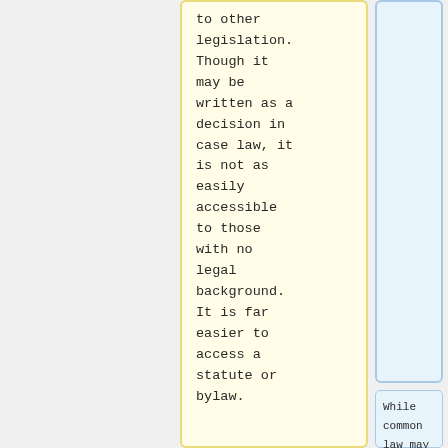to other legislation. Though it may be written as a decision in case law, it is not as easily accessible to those with no legal background. It is far easier to access a statute or bylaw.
While common law may not